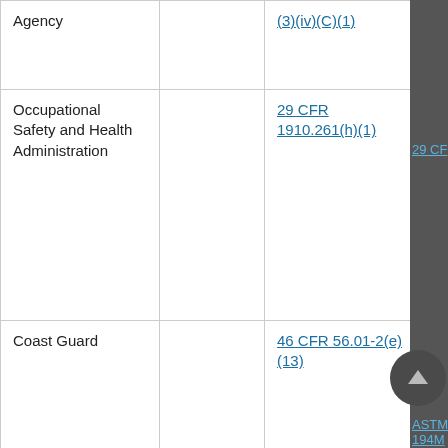| Agency |  | (3)(iv)(C)(1) |
| Occupational Safety and Health Administration |  | 29 CFR 1910.261(h)(1) |
| Coast Guard |  | 46 CFR 56.01-2(e)(13) |